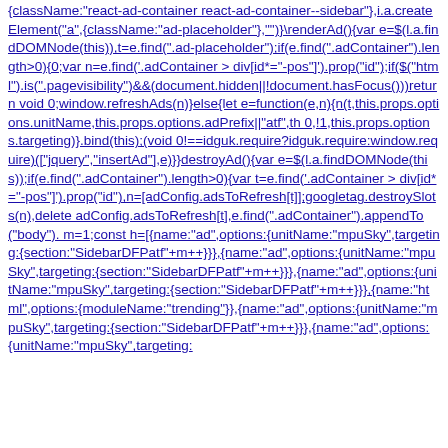{className:"react-ad-container react-ad-container--sidebar"},i.a.createElement("a",{className:"ad-placeholder"},"")}enderAd(){var e=$(l.a.findDOMNode(this)),t=e.find(".ad-placeholder");if(e.find(".adContainer").length>0){0;var n=e.find('.adContainer > div[id*="-pos"]').prop("id");if($("html").is(".pagevisibility")&&(document.hidden||!document.hasFocus()))return void 0;window.refreshAds(n)}else{let e=function(e,n){n(t,this.props.options.unitName,this.props.options.adPrefix||"atf",th 0,!1,this.props.options.targeting)}.bind(this);(void 0!==idguk.require?idguk.require:window.require)(["jquery","insertAd"],e)}}destroyAd(){var e=$(l.a.findDOMNode(this));if(e.find(".adContainer").length>0){var t=e.find('.adContainer > div[id*="-pos"]').prop("id"),n=[adConfig.adsToRefresh[t]];googletag.destroySlots(n),delete adConfig.adsToRefresh[t],e.find(".adContainer").appendTo("body"). m=1;const h=[{name:"ad",options:{unitName:"mpuSky",targeting:{section:"SidebarDFPatf"+m++}}},{name:"ad",options:{unitName:"mpuSky",targeting:{section:"SidebarDFPatf"+m++}}},{name:"ad",options:{unitName:"mpuSky",targeting:{section:"SidebarDFPatf"+m++}}},{name:"html",options:{moduleName:"trending"}},{name:"ad",options:{unitName:"mpuSky",targeting:{section:"SidebarDFPatf"+m++